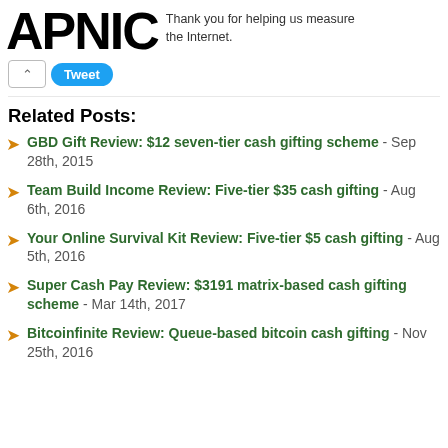[Figure (logo): APNIC logo in large bold black text]
Thank you for helping us measure the Internet.
[Figure (screenshot): Tweet button UI element with up-arrow box and blue Tweet button]
Related Posts:
GBD Gift Review: $12 seven-tier cash gifting scheme - Sep 28th, 2015
Team Build Income Review: Five-tier $35 cash gifting - Aug 6th, 2016
Your Online Survival Kit Review: Five-tier $5 cash gifting - Aug 5th, 2016
Super Cash Pay Review: $3191 matrix-based cash gifting scheme - Mar 14th, 2017
Bitcoinfinite Review: Queue-based bitcoin cash gifting - Nov 25th, 2016